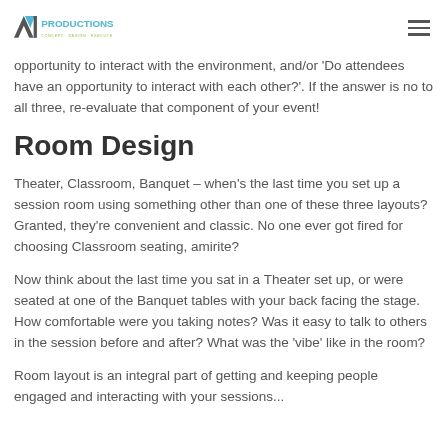AVT Productions - logo and navigation
opportunity to interact with the environment, and/or 'Do attendees have an opportunity to interact with each other?'. If the answer is no to all three, re-evaluate that component of your event!
Room Design
Theater, Classroom, Banquet – when's the last time you set up a session room using something other than one of these three layouts? Granted, they're convenient and classic. No one ever got fired for choosing Classroom seating, amirite?
Now think about the last time you sat in a Theater set up, or were seated at one of the Banquet tables with your back facing the stage. How comfortable were you taking notes? Was it easy to talk to others in the session before and after? What was the 'vibe' like in the room?
Room layout is an integral part of getting and keeping people engaged and interacting with your sessions...